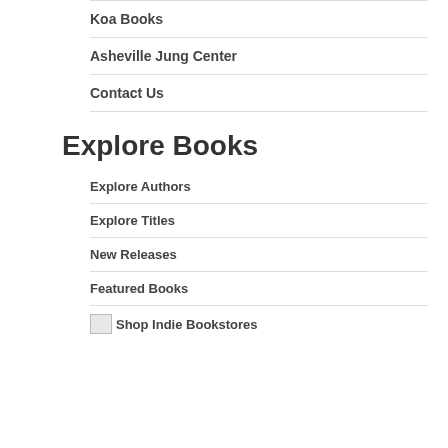Koa Books
Asheville Jung Center
Contact Us
Explore Books
Explore Authors
Explore Titles
New Releases
Featured Books
Shop Indie Bookstores